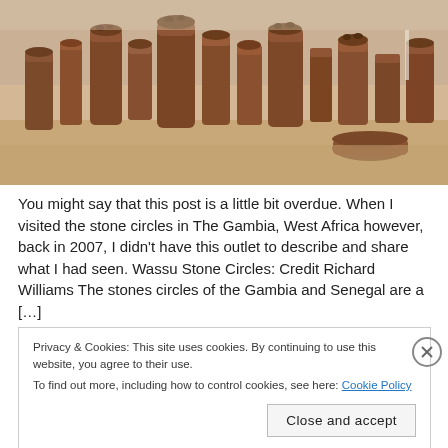[Figure (photo): Photograph of Wassu Stone Circles in The Gambia, West Africa. Multiple tall, cylindrical laterite stone pillars arranged in a circle on sandy ground under a hazy sky. Some stones have smaller rocks placed on top.]
You might say that this post is a little bit overdue. When I visited the stone circles in The Gambia, West Africa however, back in 2007, I didn't have this outlet to describe and share what I had seen. Wassu Stone Circles: Credit Richard Williams The stones circles of the Gambia and Senegal are a […]
Privacy & Cookies: This site uses cookies. By continuing to use this website, you agree to their use.
To find out more, including how to control cookies, see here: Cookie Policy
Close and accept